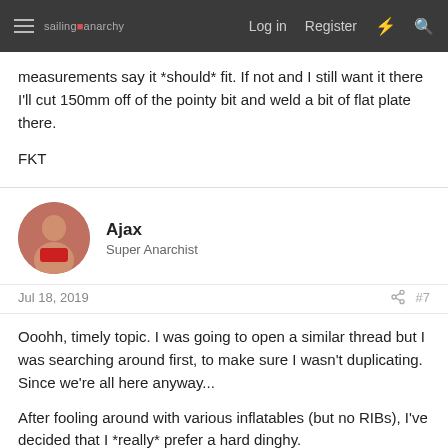sailing anarchy | Log in | Register
measurements say it *should* fit. If not and I still want it there I'll cut 150mm off of the pointy bit and weld a bit of flat plate there.

FKT
Ajax
Super Anarchist
Jul 18, 2019
#7
Ooohh, timely topic. I was going to open a similar thread but I was searching around first, to make sure I wasn't duplicating. Since we're all here anyway...
After fooling around with various inflatables (but no RIBs), I've decided that I *really* prefer a hard dinghy.